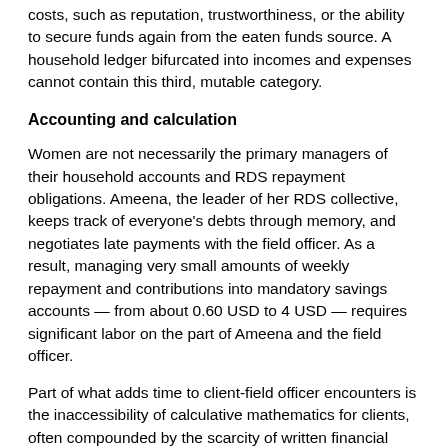costs, such as reputation, trustworthiness, or the ability to secure funds again from the eaten funds source. A household ledger bifurcated into incomes and expenses cannot contain this third, mutable category.
Accounting and calculation
Women are not necessarily the primary managers of their household accounts and RDS repayment obligations. Ameena, the leader of her RDS collective, keeps track of everyone's debts through memory, and negotiates late payments with the field officer. As a result, managing very small amounts of weekly repayment and contributions into mandatory savings accounts — from about 0.60 USD to 4 USD — requires significant labor on the part of Ameena and the field officer.
Part of what adds time to client-field officer encounters is the inaccessibility of calculative mathematics for clients, often compounded by the scarcity of written financial records. This is despite the fact that increasingly complex financial inclusion-oriented products require calculative mathematical